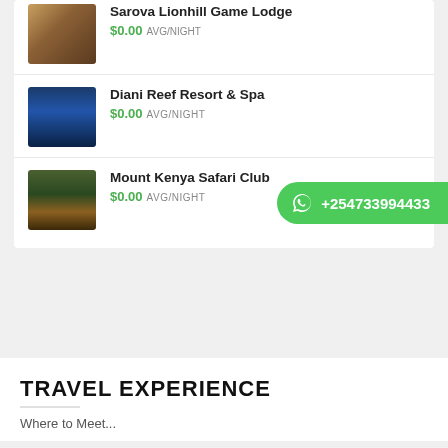Sarova Lionhill Game Lodge
$0.00 AVG/NIGHT
[Figure (photo): Interior room photo of Sarova Lionhill Game Lodge with warm lighting]
Diani Reef Resort & Spa
$0.00 AVG/NIGHT
[Figure (photo): Aerial/exterior photo of Diani Reef Resort & Spa at dusk with pool]
Mount Kenya Safari Club
$0.00 AVG/NIGHT
[Figure (photo): Exterior photo of Mount Kenya Safari Club at dusk]
+254733994433
TRAVEL EXPERIENCE
Where to Meet...